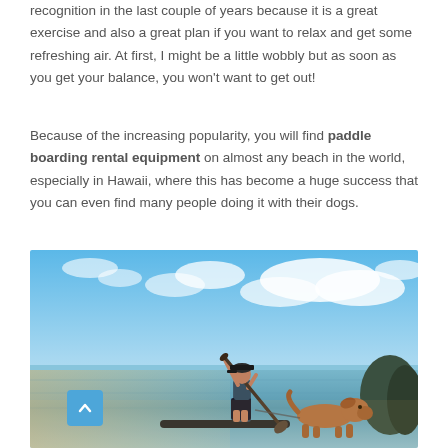recognition in the last couple of years because it is a great exercise and also a great plan if you want to relax and get some refreshing air. At first, I might be a little wobbly but as soon as you get your balance, you won't want to get out!
Because of the increasing popularity, you will find paddle boarding rental equipment on almost any beach in the world, especially in Hawaii, where this has become a huge success that you can even find many people doing it with their dogs.
[Figure (photo): A person standing on a paddleboard on calm water, holding a paddle over their shoulder, with a dog sitting beside them. Blue sky with clouds in the background. A small blue scroll-to-top button is visible in the bottom-left corner of the image.]